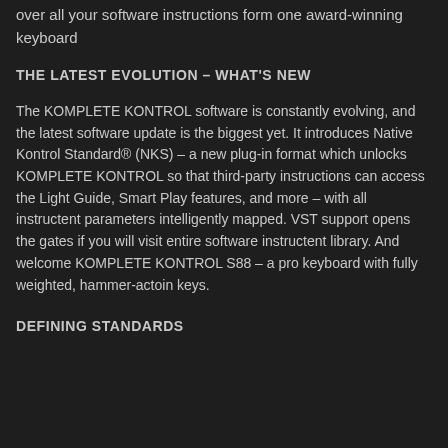over all your software instructions form one award-winning keyboard
THE LATEST EVOLUTION – WHAT'S NEW
The KOMPLETE KONTROL software is constantly evolving, and the latest software update is the biggest yet. It introduces Native Kontrol Standard® (NKS) – a new plug-in format which unlocks KOMPLETE KONTROL so that third-party instructions can access the Light Guide, Smart Play features, and more – with all instructent parameters intelligently mapped. VST support opens the gates if you will visit entire software instructent library. And welcome KOMPLETE KONTROL S88 – a pro keyboard with fully weighted, hammer-actoin keys.
DEFINING STANDARDS